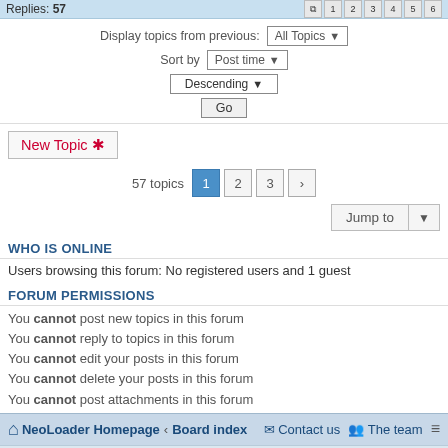Replies: 57   1 2 3 4 5 6
Display topics from previous: All Topics ▼   Sort by Post time ▼   Descending ▼   Go
New Topic ✱
57 topics  1 2 3 >
Jump to ▼
WHO IS ONLINE
Users browsing this forum: No registered users and 1 guest
FORUM PERMISSIONS
You cannot post new topics in this forum
You cannot reply to topics in this forum
You cannot edit your posts in this forum
You cannot delete your posts in this forum
You cannot post attachments in this forum
🏠 NeoLoader Homepage ‹ Board index   ✉ Contact us   👥 The team   ≡
Powered by phpBB® Forum Software © phpBB Limited
Fatal: Not able to open ./cache/data_global.php